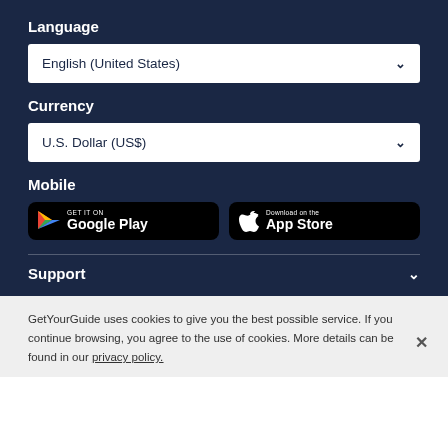Language
English (United States)
Currency
U.S. Dollar (US$)
Mobile
[Figure (screenshot): GET IT ON Google Play button (black rounded rectangle)]
[Figure (screenshot): Download on the App Store button (black rounded rectangle)]
Support
GetYourGuide uses cookies to give you the best possible service. If you continue browsing, you agree to the use of cookies. More details can be found in our privacy policy.